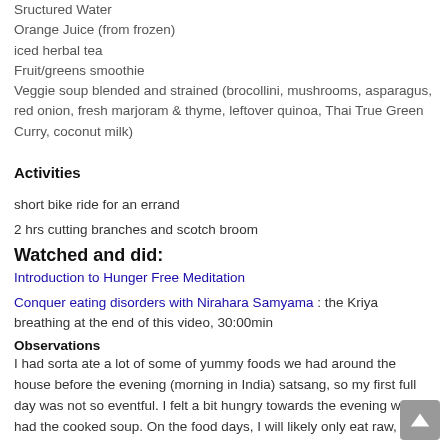Sructured Water
Orange Juice (from frozen)
iced herbal tea
Fruit/greens smoothie
Veggie soup blended and strained (brocollini, mushrooms, asparagus, red onion, fresh marjoram & thyme, leftover quinoa, Thai True Green Curry, coconut milk)
Activities
short bike ride for an errand
2 hrs cutting branches and scotch broom
Watched and did:
Introduction to Hunger Free Meditation
Conquer eating disorders with Nirahara Samyama : the Kriya breathing at the end of this video, 30:00min
Observations
I had sorta ate a lot of some of yummy foods we had around the house before the evening (morning in India) satsang, so my first full day was not so eventful. I felt a bit hungry towards the evening when I had the cooked soup. On the food days, I will likely only eat raw, but